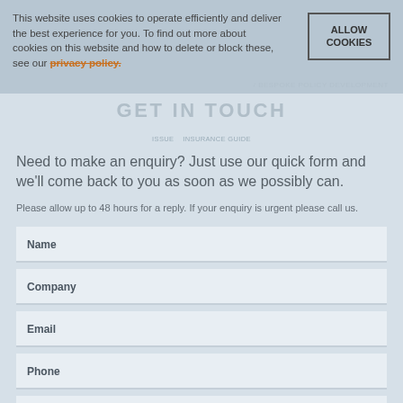This website uses cookies to operate efficiently and deliver the best experience for you. To find out more about cookies on this website and how to delete or block these, see our privacy policy.
ALLOW COOKIES
/ BESPOKE POLICY DEVELOPMENT
GET IN TOUCH
Need to make an enquiry? Just use our quick form and we'll come back to you as soon as we possibly can.
Please allow up to 48 hours for a reply. If your enquiry is urgent please call us.
Name
Company
Email
Phone
Enquiry